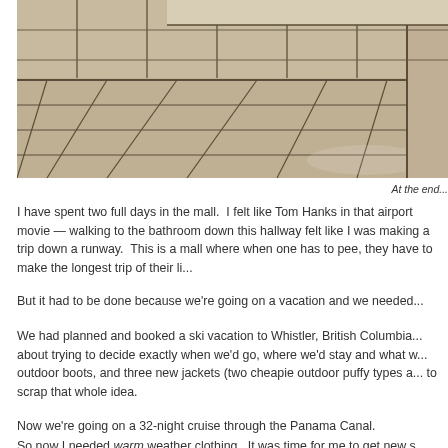[Figure (photo): Photo of a tiled hallway with large beige/tan floor tiles and matching wall tiles, viewed from a low angle showing the length of the corridor.]
At the end...
I have spent two full days in the mall.  I felt like Tom Hanks in that airport movie — walking to the bathroom down this hallway felt like I was making a trip down a runway.  This is a mall where when one has to pee, they have to make the longest trip of their li...
But it had to be done because we're going on a vacation and we needed...
We had planned and booked a ski vacation to Whistler, British Columbia... about trying to decide exactly when we'd go, where we'd stay and what w... outdoor boots, and three new jackets (two cheapie outdoor puffy types a... to scrap that whole idea.
Now we're going on a 32-night cruise through the Panama Canal.
So now I needed warm weather clothing.  It was time for me to get new s...